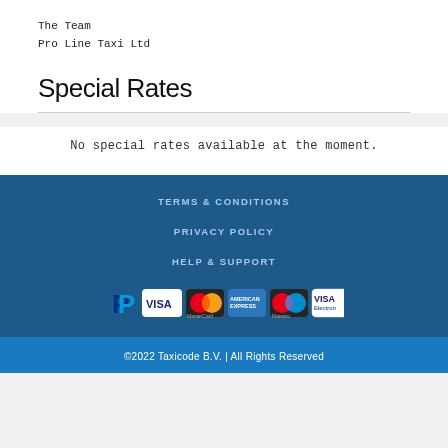The Team
Pro Line Taxi Ltd
Special Rates
No special rates available at the moment.
TERMS & CONDITIONS
PRIVACY POLICY
HELP & SUPPORT
[Figure (other): Payment method icons: PayPal, Visa, MasterCard, American Express, Maestro, Visa Electron]
©2022 Taxicode B.V. | All Rights Reserved